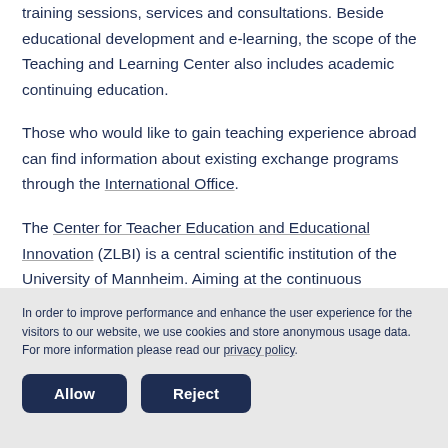training sessions, services and consultations. Beside educational development and e-learning, the scope of the Teaching and Learning Center also includes academic continuing education.
Those who would like to gain teaching experience abroad can find information about existing exchange programs through the International Office.
The Center for Teacher Education and Educational Innovation (ZLBI) is a central scientific institution of the University of Mannheim. Aiming at the continuous development of
In order to improve performance and enhance the user experience for the visitors to our website, we use cookies and store anonymous usage data. For more information please read our privacy policy.